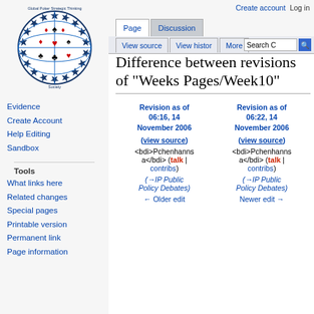[Figure (logo): Global Poker Strategic Thinking Society logo - globe with playing card suits]
Evidence
Create Account
Help Editing
Sandbox
Tools
What links here
Related changes
Special pages
Printable version
Permanent link
Page information
Create account  Log in
Difference between revisions of "Weeks Pages/Week10"
| Revision as of 06:16, 14 November 2006 | Revision as of 06:22, 14 November 2006 |
| --- | --- |
| (view source) | (view source) |
| <bdi>Pchenhansa</bdi> (talk | contribs) | <bdi>Pchenhansa</bdi> (talk | contribs) |
| (→IP Public Policy Debates) | (→IP Public Policy Debates) |
| ← Older edit | Newer edit → |